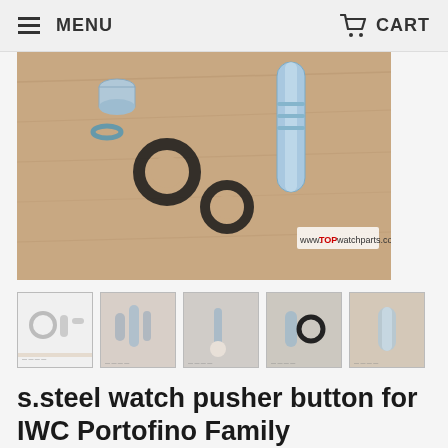MENU   CART
[Figure (photo): Close-up photo of stainless steel watch pusher parts including small tubes, O-rings and a cylindrical metal piece laid on a wooden surface. Watermark text reads www.TOPwatchparts.com]
[Figure (photo): Thumbnail 1: watch parts on white background]
[Figure (photo): Thumbnail 2: watch pusher components]
[Figure (photo): Thumbnail 3: watch pusher pin and pearl]
[Figure (photo): Thumbnail 4: watch parts with black O-rings]
[Figure (photo): Thumbnail 5: watch pusher detail]
s.steel watch pusher button for IWC Portofino Family Chronograph watch IW3910 watch parts